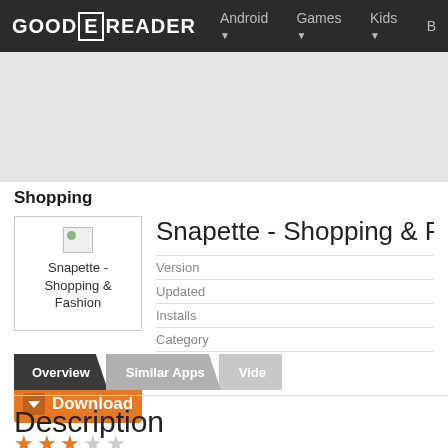GOOD E READER  Android  Games  Kids  B
[Figure (other): Advertisement banner area, light gray background]
Shopping
[Figure (screenshot): App icon thumbnail for Snapette - Shopping & Fashion with small landscape image placeholder]
Snapette - Shopping & F
Version
Updated
Installs
Category
Tags
Overview  Similar Apps  Vide
Description